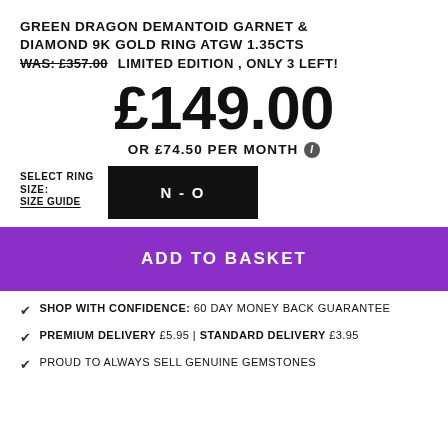GREEN DRAGON DEMANTOID GARNET & DIAMOND 9K GOLD RING ATGW 1.35CTS
WAS: £357.00   LIMITED EDITION , ONLY 3 LEFT!
£149.00
OR £74.50 PER MONTH ℹ
SELECT RING SIZE:
SIZE GUIDE
N - O
ADD TO BASKET
SHOP WITH CONFIDENCE: 60 DAY MONEY BACK GUARANTEE
PREMIUM DELIVERY £5.95 | STANDARD DELIVERY £3.95
PROUD TO ALWAYS SELL GENUINE GEMSTONES